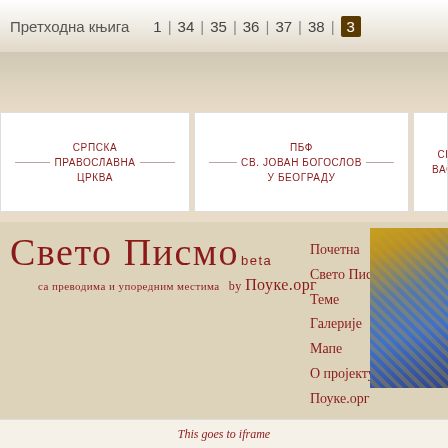Претходна књига   1 | 34 | 35 | 36 | 37 | 38 | 3…
[Figure (screenshot): Website navigation bar with Serbian Orthodox Church institution banners: СРПСКА ПРАВОСЛАВНА ЦРКВА, ПБФ СВ. ЈОВАН БОГОСЛОВ У БЕОГРАДУ, СВ. ВАСИ...]
Свето Писмо beta
са преводима и упоредним местима   by Поуке.орг
Почетна
Свето Писмо
Теме
Галерије
Мапе
О пројекту
Поуке.орг
This goes to iframe